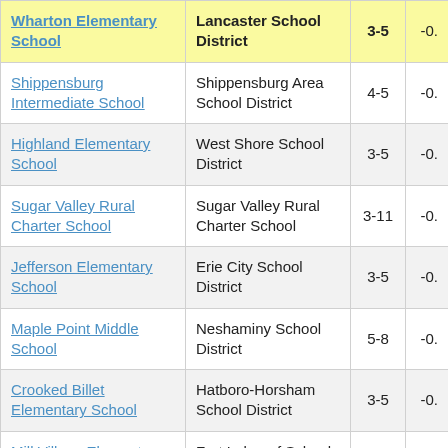| School | District | Grades |  |
| --- | --- | --- | --- |
| Wharton Elementary School | Lancaster School District | 3-5 | -0. |
| Shippensburg Intermediate School | Shippensburg Area School District | 4-5 | -0. |
| Highland Elementary School | West Shore School District | 3-5 | -0. |
| Sugar Valley Rural Charter School | Sugar Valley Rural Charter School | 3-11 | -0. |
| Jefferson Elementary School | Erie City School District | 3-5 | -0. |
| Maple Point Middle School | Neshaminy School District | 5-8 | -0. |
| Crooked Billet Elementary School | Hatboro-Horsham School District | 3-5 | -0. |
| Mill Village Elementary School | Fort Leboeuf School District | 3-5 | -0. |